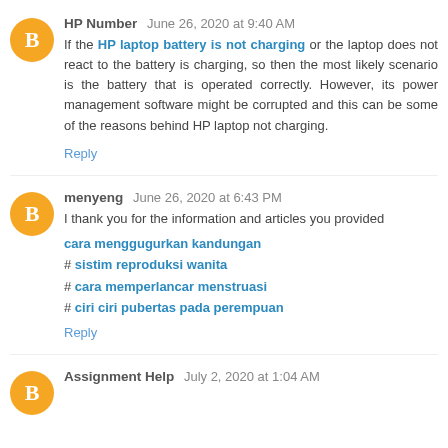HP Number  June 26, 2020 at 9:40 AM
If the HP laptop battery is not charging or the laptop does not react to the battery is charging, so then the most likely scenario is the battery that is operated correctly. However, its power management software might be corrupted and this can be some of the reasons behind HP laptop not charging.
Reply
menyeng  June 26, 2020 at 6:43 PM
I thank you for the information and articles you provided
cara menggugurkan kandungan
# sistim reproduksi wanita
# cara memperlancar menstruasi
# ciri ciri pubertas pada perempuan
Reply
Assignment Help  July 2, 2020 at 1:04 AM